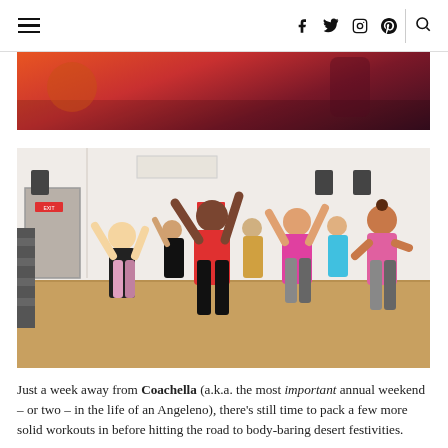≡  f  t  ○  ℗  |  🔍
[Figure (photo): Cropped top of a photo showing people in colorful workout clothes (orange, dark) from the torso up, appearing to be in a dance or fitness class.]
[Figure (photo): A group of women in colorful workout clothes (pink, orange, teal, black) participating in a dance fitness class in a gym studio with wood floors and mirrored walls. Their arms are raised in the air mid-movement.]
Just a week away from Coachella (a.k.a. the most important annual weekend – or two – in the life of an Angeleno), there's still time to pack a few more solid workouts in before hitting the road to body-baring desert festivities.